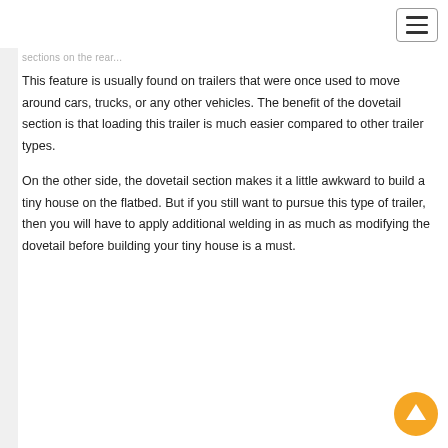sections on the rear...
This feature is usually found on trailers that were once used to move around cars, trucks, or any other vehicles. The benefit of the dovetail section is that loading this trailer is much easier compared to other trailer types.
On the other side, the dovetail section makes it a little awkward to build a tiny house on the flatbed. But if you still want to pursue this type of trailer, then you will have to apply additional welding in as much as modifying the dovetail before building your tiny house is a must.